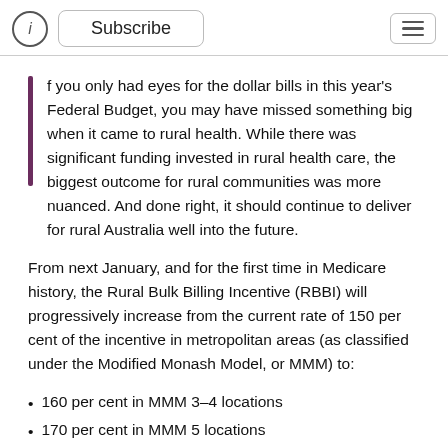Subscribe
If you only had eyes for the dollar bills in this year's Federal Budget, you may have missed something big when it came to rural health. While there was significant funding invested in rural health care, the biggest outcome for rural communities was more nuanced. And done right, it should continue to deliver for rural Australia well into the future.
From next January, and for the first time in Medicare history, the Rural Bulk Billing Incentive (RBBI) will progressively increase from the current rate of 150 per cent of the incentive in metropolitan areas (as classified under the Modified Monash Model, or MMM) to:
160 per cent in MMM 3–4 locations
170 per cent in MMM 5 locations